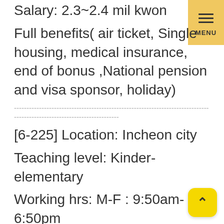Salary: 2.3~2.4 mil kwon
Full benefits( air ticket, Single housing, medical insurance, end of bonus ,National pension and visa sponsor, holiday)
--------------------------------------------------------
[6-225] Location: Incheon city
Teaching level: Kinder-elementary
Working hrs: M-F : 9:50am-6:50pm
Starting date: Spet 1st, 2022
Salary: 2.2 mil kwon~ nego
Full benefits( air ticket, Single housing,